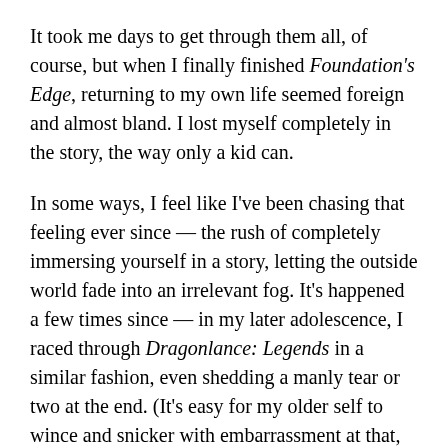It took me days to get through them all, of course, but when I finally finished Foundation's Edge, returning to my own life seemed foreign and almost bland. I lost myself completely in the story, the way only a kid can.
In some ways, I feel like I've been chasing that feeling ever since — the rush of completely immersing yourself in a story, letting the outside world fade into an irrelevant fog. It's happened a few times since — in my later adolescence, I raced through Dragonlance: Legends in a similar fashion, even shedding a manly tear or two at the end. (It's easy for my older self to wince and snicker with embarrassment at that, but I still wouldn't trade that memory for anything.)
I'd love to say that reading Lord of the Rings provided a similar experience, but it didn't — as a youth, I found Tolkien hard to get through, and only began to appreciate